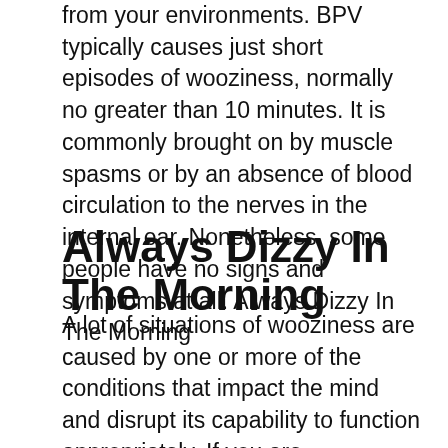from your environments. BPV typically causes just short episodes of wooziness, normally no greater than 10 minutes. It is commonly brought on by muscle spasms or by an absence of blood circulation to the nerves in the internal ear. Nonetheless, some people have no signs and symptoms at all. Always Dizzy In The Morning
Always Dizzy In The Morning
A lot of situations of wooziness are caused by one or more of the conditions that impact the mind and disrupt its capability to function appropriately. If you are experiencing signs and symptoms that you think are vertigo, your medical professional will probably suggest antihistamines or